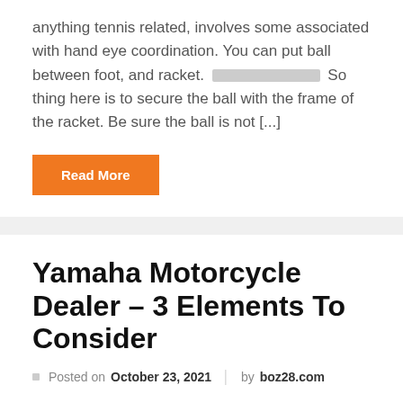anything tennis related, involves some associated with hand eye coordination. You can put ball between foot, and racket. [redacted] So thing here is to secure the ball with the frame of the racket. Be sure the ball is not [...]
Read More
Yamaha Motorcycle Dealer – 3 Elements To Consider
Posted on October 23, 2021   by boz28.com
We learned that the best e-bike insurance came from